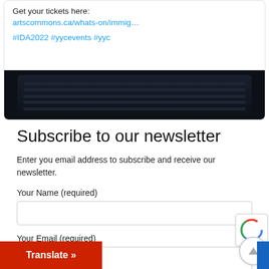Get your tickets here:
artscommons.ca/whats-on/immig…
#IDA2022 #yycevents #yyc
[Figure (photo): Dark image thumbnail at bottom of social media card]
Subscribe to our newsletter
Enter you email address to subscribe and receive our newsletter.
Your Name (required)
Your Email (required)